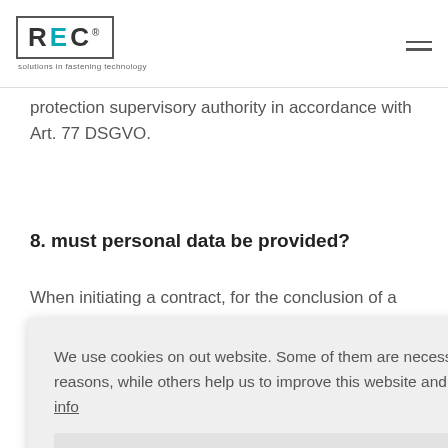[Figure (logo): REC logo with text 'solutions in fastening technology']
...fulfillment of the retention period, but on the basis of a justified revocation.
...the right of appeal to a competent data protection supervisory authority in accordance with Art. 77 DSGVO.
8. must personal data be provided?
When initiating a contract, for the conclusion of a...
We use cookies on out website. Some of them are necessary for technical reasons, while others help us to improve this website and your experience.  More info
necessary  statistics  marketing
Allow cookies    Allow all cookies
object